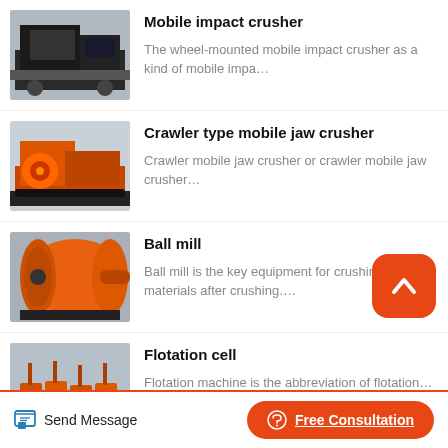[Figure (photo): Mobile impact crusher - large wheeled industrial crusher machine photographed outdoors]
Mobile impact crusher
The wheel-mounted mobile impact crusher as a kind of mobile impa…
[Figure (photo): Crawler type mobile jaw crusher - orange tracked industrial jaw crusher machine]
Crawler type mobile jaw crusher
Crawler mobile jaw crusher or crawler mobile jaw crusher…
[Figure (photo): Ball mill - large orange cylindrical ball mill industrial equipment]
Ball mill
Ball mill is the key equipment for crushing materials after crushing….
[Figure (photo): Flotation cell - orange flotation machine industrial equipment]
Flotation cell
Flotation machine is the abbreviation of flotation…
Send Message
Free Consultation